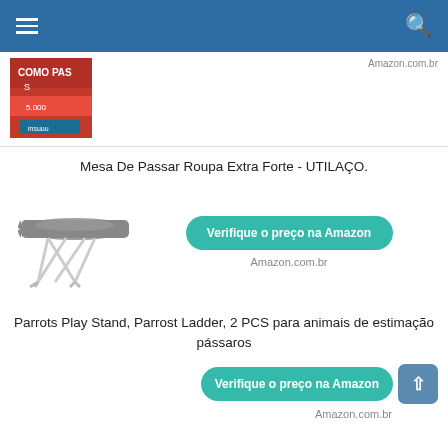Navigation bar with hamburger menu and search icon
[Figure (photo): Partial product image showing a red book/product cover with 'COMO PASS' text visible, partially cropped]
Amazon.com.br
Mesa De Passar Roupa Extra Forte - UTILAÇO.
[Figure (photo): Ironing board product image, gray padded top with white metal X-frame legs]
Verifique o preço na Amazon
Amazon.com.br
Parrots Play Stand, Parrost Ladder, 2 PCS para animais de estimação pássaros
Verifique o preço na Amazon
Amazon.com.br